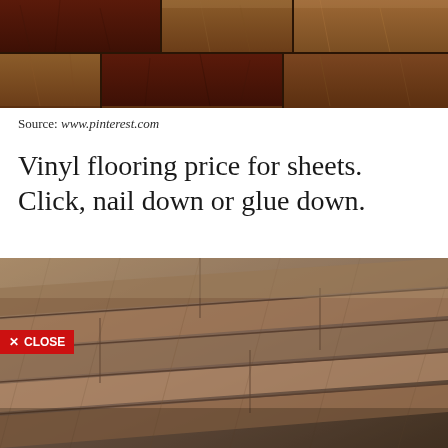[Figure (photo): Close-up photo of dark wood flooring planks in brown and reddish-brown tones, viewed from above.]
Source: www.pinterest.com
Vinyl flooring price for sheets. Click, nail down or glue down.
[Figure (photo): Photo of grey-brown vinyl plank flooring viewed at an angle, showing wood grain texture. A red CLOSE button overlay is visible in the lower left.]